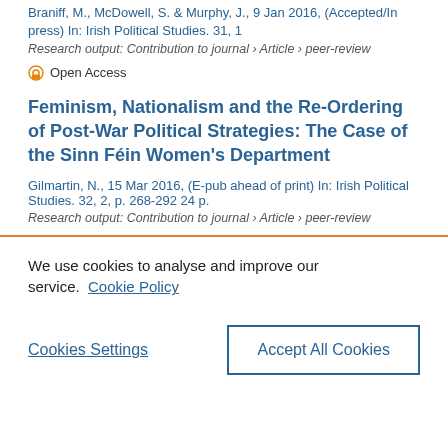Braniff, M., McDowell, S. & Murphy, J., 9 Jan 2016, (Accepted/In press) In: Irish Political Studies. 31, 1
Research output: Contribution to journal › Article › peer-review
Open Access
Feminism, Nationalism and the Re-Ordering of Post-War Political Strategies: The Case of the Sinn Féin Women's Department
Gilmartin, N., 15 Mar 2016, (E-pub ahead of print) In: Irish Political Studies. 32, 2, p. 268-292 24 p.
Research output: Contribution to journal › Article › peer-review
We use cookies to analyse and improve our service. Cookie Policy
Cookies Settings
Accept All Cookies